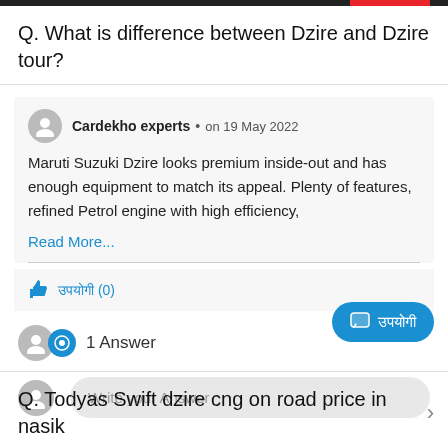Q. What is difference between Dzire and Dzire tour?
Cardekho experts • on 19 May 2022
Maruti Suzuki Dzire looks premium inside-out and has enough equipment to match its appeal. Plenty of features, refined Petrol engine with high efficiency,
Read More...
उपयोगी (0)
1 Answer
Write your Answer
Q. Todyas Swift dzire cng on road price in nasik